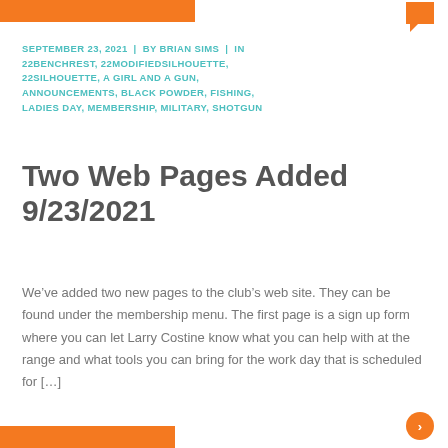SEPTEMBER 23, 2021 | BY BRIAN SIMS | IN 22BENCHREST, 22MODIFIEDSILHOUETTE, 22SILHOUETTE, A GIRL AND A GUN, ANNOUNCEMENTS, BLACK POWDER, FISHING, LADIES DAY, MEMBERSHIP, MILITARY, SHOTGUN
Two Web Pages Added 9/23/2021
We’ve added two new pages to the club’s web site. They can be found under the membership menu. The first page is a sign up form where you can let Larry Costine know what you can help with at the range and what tools you can bring for the work day that is scheduled for […]